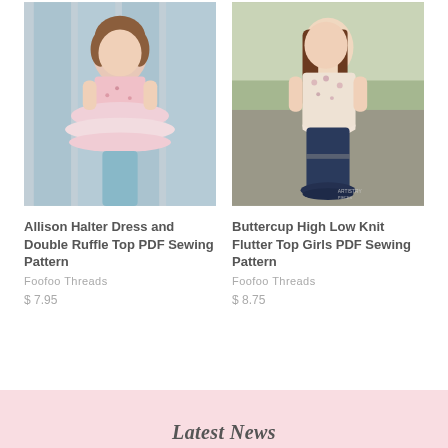[Figure (photo): Young girl wearing a pink halter dress with double ruffle layers and teal pants, standing in front of a blue painted wood fence background.]
Allison Halter Dress and Double Ruffle Top PDF Sewing Pattern
Foofoo Threads
$ 7.95
[Figure (photo): Young girl wearing a floral lace high-low flutter top over navy blue ruffle pants, standing outdoors on gravel with greenery in background. Artistry Pieces watermark visible.]
Buttercup High Low Knit Flutter Top Girls PDF Sewing Pattern
Foofoo Threads
$ 8.75
Latest News